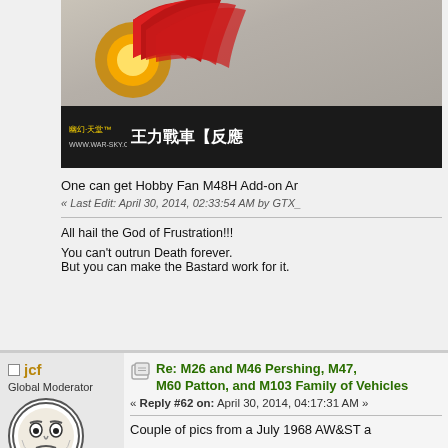[Figure (photo): Banner image with flame/phoenix logo and Chinese text for war-sky.com website]
One can get Hobby Fan M48H Add-on Ar
« Last Edit: April 30, 2014, 02:33:54 AM by GTX_
All hail the God of Frustration!!!
You can't outrun Death forever.
But you can make the Bastard work for it.
jcf
Global Moderator
[Figure (illustration): Round avatar with illustrated face showing serious/grumpy expression]
Turn that Gila-copter down!
Re: M26 and M46 Pershing, M47, M60 Patton, and M103 Family of Vehicles
« Reply #62 on: April 30, 2014, 04:17:31 AM »
Couple of pics from a July 1968 AW&ST a